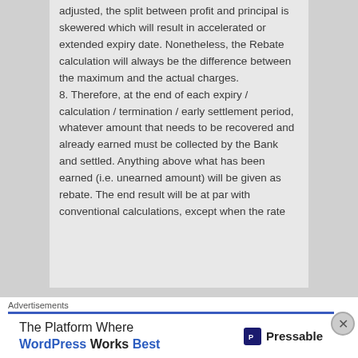adjusted, the split between profit and principal is skewered which will result in accelerated or extended expiry date. Nonetheless, the Rebate calculation will always be the difference between the maximum and the actual charges. 8. Therefore, at the end of each expiry / calculation / termination / early settlement period, whatever amount that needs to be recovered and already earned must be collected by the Bank and settled. Anything above what has been earned (i.e. unearned amount) will be given as rebate. The end result will be at par with conventional calculations, except when the rate
Advertisements
The Platform Where WordPress Works Best — Pressable